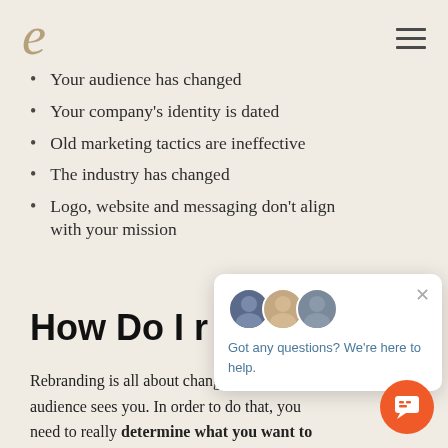e [logo] [hamburger menu]
Your audience has changed
Your company's identity is dated
Old marketing tactics are ineffective
The industry has changed
Logo, website and messaging don't align with your mission
How Do I r
Rebranding is all about changing the way your audience sees you. In order to do that, you need to really determine what you want to
[Figure (screenshot): Chat widget overlay with avatars and text 'Got any questions? We're here to help.' with close button]
[Figure (other): Orange circular chat button with speech bubble icon]